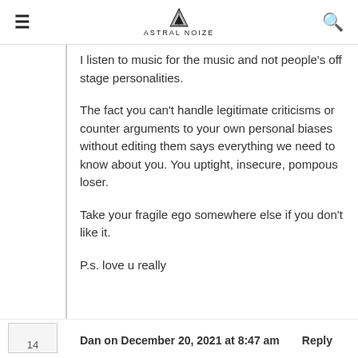ASTRAL NOIZE
I listen to music for the music and not people's off stage personalities.
The fact you can't handle legitimate criticisms or counter arguments to your own personal biases without editing them says everything we need to know about you. You uptight, insecure, pompous loser.
Take your fragile ego somewhere else if you don't like it.
P.s. love u really
Dan on December 20, 2021 at 8:47 am   Reply